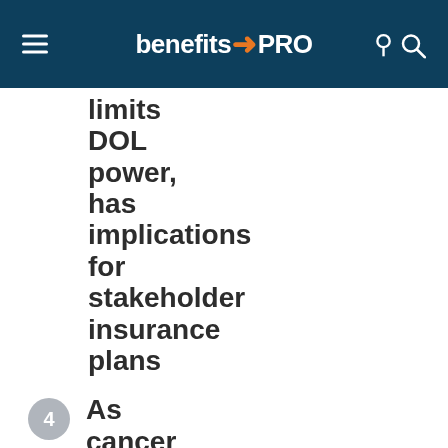benefitsPRO
limits DOL power, has implications for stakeholder insurance plans
As cancer costs rise, employers looking to Centers of Excellence,